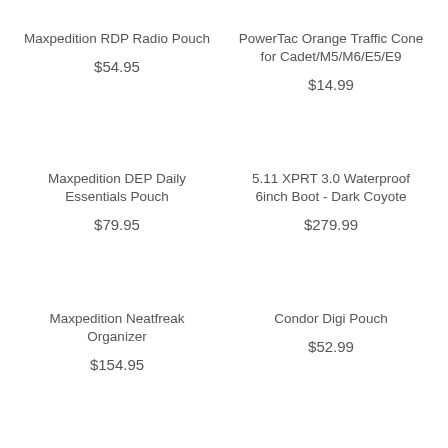Maxpedition RDP Radio Pouch
$54.95
PowerTac Orange Traffic Cone for Cadet/M5/M6/E5/E9
$14.99
Maxpedition DEP Daily Essentials Pouch
$79.95
5.11 XPRT 3.0 Waterproof 6inch Boot - Dark Coyote
$279.99
Maxpedition Neatfreak Organizer
$154.95
Condor Digi Pouch
$52.99